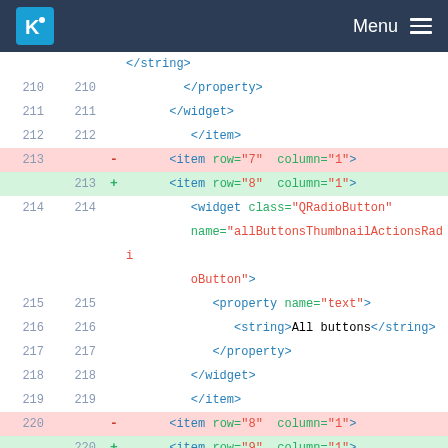KDE Menu
Code diff view showing XML lines 210-222 with line number columns and diff markers
210 210     </property>
211 211     </widget>
212 212        </item>
213  -  <item row="7" column="1">
213 +  <item row="8" column="1">
214 214     <widget class="QRadioButton" name="allButtonsThumbnailActionsRadioButton">
215 215         <property name="text">
216 216             <string>All buttons</string>
217 217         </property>
218 218         </widget>
219 219         </item>
220  -  <item row="8" column="1">
220 +  <item row="9" column="1">
221 221     <widget class="QRadioButton" name="selectionOnlyThumbnailActionsRadioButton">
222 222         <property name="text">